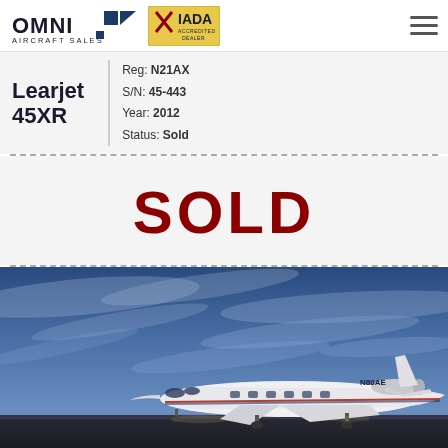OMNI AIRCRAFT SALES | IADA ACCREDITED DEALER
Learjet 45XR
Reg: N21AX
S/N: 45-443
Year: 2012
Status: Sold
SOLD
[Figure (photo): Learjet 45XR aircraft (registration N80AE) on tarmac against dramatic blue cloudy sky at dusk/dawn, side profile view showing white fuselage with red and blue stripes]